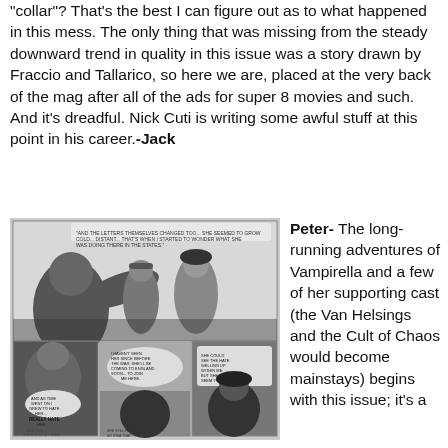"collar"? That's the best I can figure out as to what happened in this mess. The only thing that was missing from the steady downward trend in quality in this issue was a story drawn by Fraccio and Tallarico, so here we are, placed at the very back of the mag after all of the ads for super 8 movies and such. And it's dreadful. Nick Cuti is writing some awful stuff at this point in his career.-Jack
[Figure (illustration): Black and white comic book panels showing action scenes with characters including a muscular figure and a woman, with speech bubbles containing text.]
Peter- The long-running adventures of Vampirella and a few of her supporting cast (the Van Helsings and the Cult of Chaos would become mainstays) begins with this issue; it's a